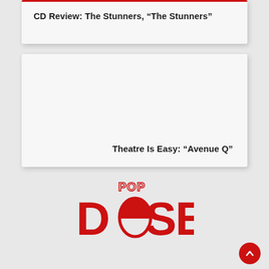CD Review: The Stunners, “The Stunners”
Theatre Is Easy: “Avenue Q”
[Figure (logo): Popdose logo in red: 'POP' in smaller text above and 'DOSE' in large bold letters with a capsule pill replacing the letter 'O']